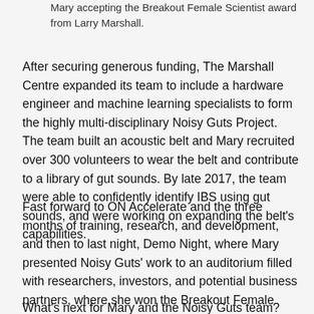Mary accepting the Breakout Female Scientist award from Larry Marshall.
After securing generous funding, The Marshall Centre expanded its team to include a hardware engineer and machine learning specialists to form the highly multi-disciplinary Noisy Guts Project. The team built an acoustic belt and Mary recruited over 300 volunteers to wear the belt and contribute to a library of gut sounds. By late 2017, the team were able to confidently identify IBS using gut sounds, and were working on expanding the belt's capabilities.
Fast forward to ON Accelerate and the three months of training, research, and development, and then to last night, Demo Night, where Mary presented Noisy Guts' work to an auditorium filled with researchers, investors, and potential business partners, where she won the Breakout Female Scientist Award.
What's next for Mary and the Noisy Guts team? The